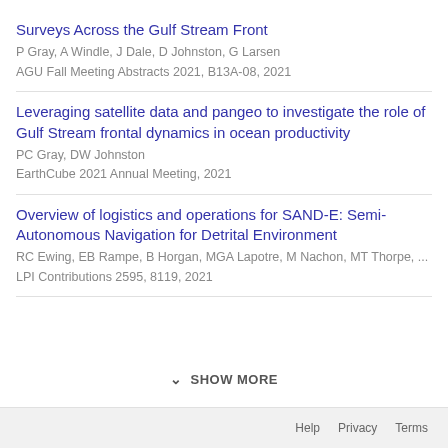Surveys Across the Gulf Stream Front
P Gray, A Windle, J Dale, D Johnston, G Larsen
AGU Fall Meeting Abstracts 2021, B13A-08, 2021
Leveraging satellite data and pangeo to investigate the role of Gulf Stream frontal dynamics in ocean productivity
PC Gray, DW Johnston
EarthCube 2021 Annual Meeting, 2021
Overview of logistics and operations for SAND-E: Semi-Autonomous Navigation for Detrital Environment
RC Ewing, EB Rampe, B Horgan, MGA Lapotre, M Nachon, MT Thorpe, ...
LPI Contributions 2595, 8119, 2021
SHOW MORE
Help   Privacy   Terms